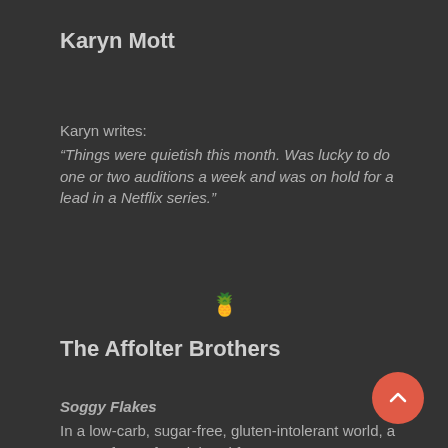Karyn Mott
Karyn writes:
“Things were quietish this month. Was lucky to do one or two auditions a week and was on hold for a lead in a Netflix series.”
[Figure (illustration): Pineapple emoji used as a section divider]
The Affolter Brothers
Soggy Flakes
In a low-carb, sugar-free, gluten-intolerant world, a group of out-of-work breakfast